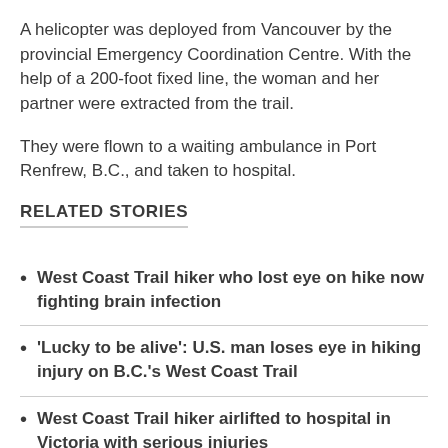A helicopter was deployed from Vancouver by the provincial Emergency Coordination Centre. With the help of a 200-foot fixed line, the woman and her partner were extracted from the trail.
They were flown to a waiting ambulance in Port Renfrew, B.C., and taken to hospital.
RELATED STORIES
West Coast Trail hiker who lost eye on hike now fighting brain infection
'Lucky to be alive': U.S. man loses eye in hiking injury on B.C.'s West Coast Trail
West Coast Trail hiker airlifted to hospital in Victoria with serious injuries